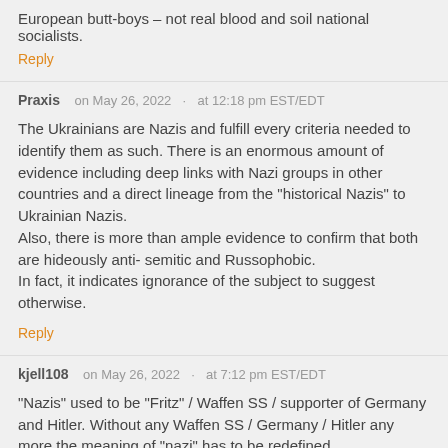European butt-boys – not real blood and soil national socialists.
Reply
Praxis   on May 26, 2022  ·  at 12:18 pm EST/EDT
The Ukrainians are Nazis and fulfill every criteria needed to identify them as such. There is an enormous amount of evidence including deep links with Nazi groups in other countries and a direct lineage from the "historical Nazis" to Ukrainian Nazis. Also, there is more than ample evidence to confirm that both are hideously anti- semitic and Russophobic.
In fact, it indicates ignorance of the subject to suggest otherwise.
Reply
kjell108   on May 26, 2022  ·  at 7:12 pm EST/EDT
“Nazis” used to be “Fritz” / Waffen SS / supporter of Germany and Hitler. Without any Waffen SS / Germany / Hitler any more the meaning of “nazi” has to be redefined
Reply